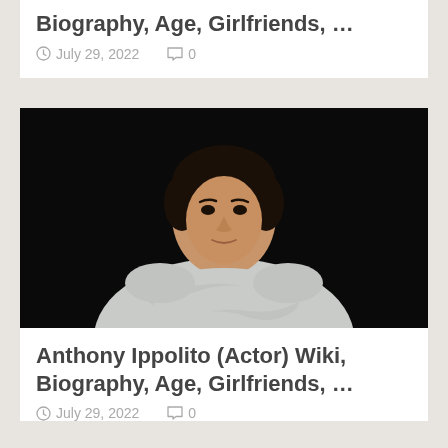Biography, Age, Girlfriends, …
July 29, 2022   0
[Figure (photo): Portrait photo of Anthony Ippolito, a young man with dark hair wearing a light gray t-shirt with arms crossed, against a black background.]
Anthony Ippolito (Actor) Wiki, Biography, Age, Girlfriends, …
July 29, 2022   0